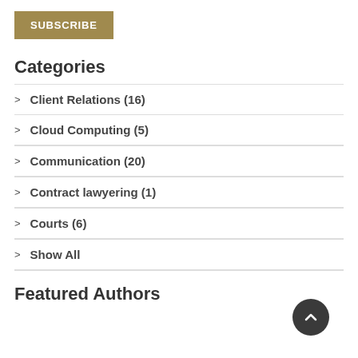SUBSCRIBE
Categories
Client Relations (16)
Cloud Computing (5)
Communication (20)
Contract lawyering (1)
Courts (6)
Show All
Featured Authors